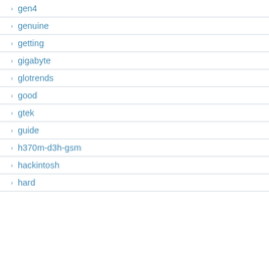gen4
genuine
getting
gigabyte
glotrends
good
gtek
guide
h370m-d3h-gsm
hackintosh
hard